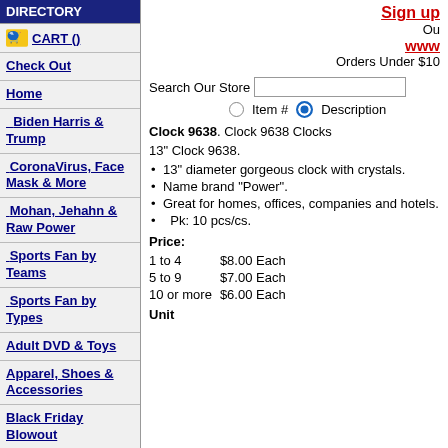DIRECTORY
CART ()
Check Out
Home
Biden Harris & Trump
CoronaVirus, Face Mask & More
Mohan, Jehahn & Raw Power
Sports Fan by Teams
Sports Fan by Types
Adult DVD & Toys
Apparel, Shoes & Accessories
Black Friday Blowout
Black History
Clearance Sale: 40% OFF
Contact Us
Sign up
Ou
www
Orders Under $10
Search Our Store
Item #   Description
Clock 9638. Clock 9638 Clocks
13" Clock 9638.
13" diameter gorgeous clock with crystals.
Name brand "Power".
Great for homes, offices, companies and hotels.
Pk: 10 pcs/cs.
Price:
| Quantity | Price |
| --- | --- |
| 1 to 4 | $8.00 Each |
| 5 to 9 | $7.00 Each |
| 10 or more | $6.00 Each |